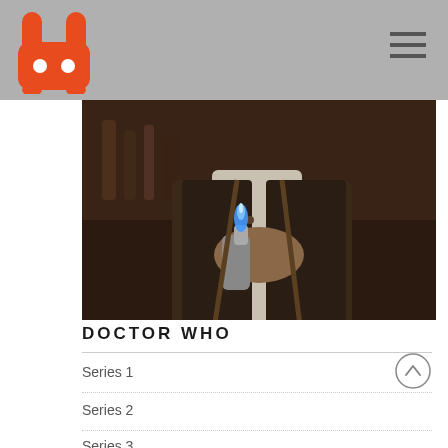[Figure (logo): Orange rabbit/bunny logo with two ears and two white dot eyes]
[Figure (other): Hamburger menu icon (three horizontal lines)]
[Figure (photo): Dark atmospheric photo of a person in vest holding a torch/lighter with blue flame, set in a bar-like environment]
The Woman Who Fell to Earth
2018.10.07
DOCTOR WHO
Series 1
Series 2
Series 3